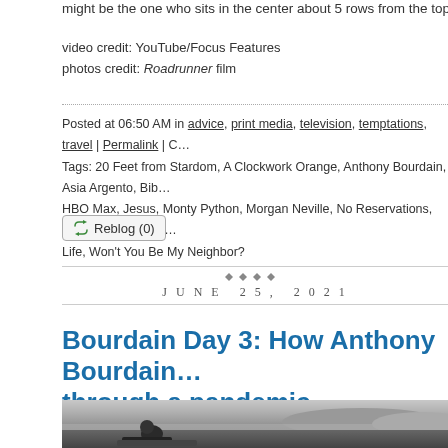might be the one who sits in the center about 5 rows from the top of the th…
video credit: YouTube/Focus Features
photos credit: Roadrunner film
Posted at 06:50 AM in advice, print media, television, temptations, travel | Permalink | C…
Tags: 20 Feet from Stardom, A Clockwork Orange, Anthony Bourdain, Asia Argento, Bib…
HBO Max, Jesus, Monty Python, Morgan Neville, No Reservations, pandemic, Roadru…
Life, Won't You Be My Neighbor?
Reblog (0)
JUNE 25, 2021
Bourdain Day 3: How Anthony Bourdain… through a pandemic
[Figure (photo): Black and white photo of Anthony Bourdain reclining outdoors near a body of water with hills in the background]